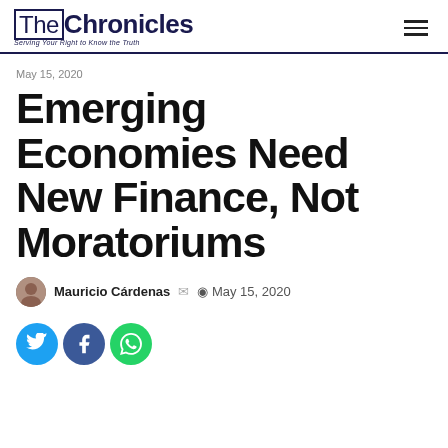TheChronicles — Serving Your Right to Know the Truth
May 15, 2020
Emerging Economies Need New Finance, Not Moratoriums
Mauricio Cárdenas  ✉  © May 15, 2020